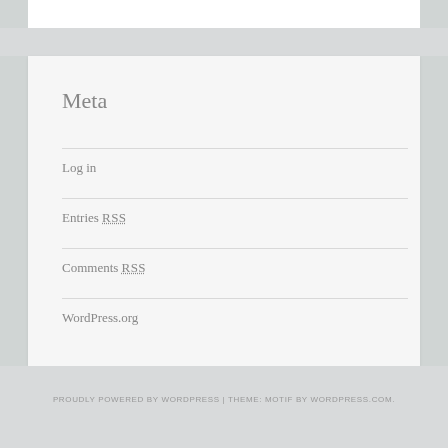Meta
Log in
Entries RSS
Comments RSS
WordPress.org
PROUDLY POWERED BY WORDPRESS | THEME: MOTIF BY WORDPRESS.COM.